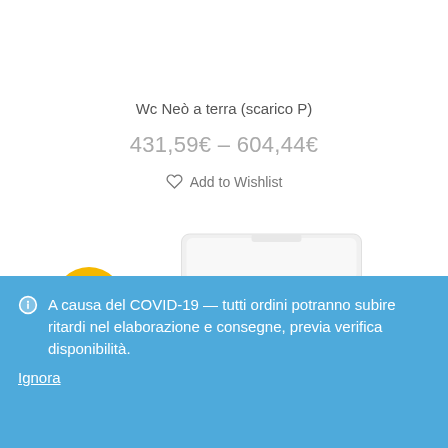Wc Neò a terra (scarico P)
431,59€ – 604,44€
Add to Wishlist
[Figure (other): Yellow circular discount badge showing -20%]
[Figure (photo): White toilet bowl product image, partially visible at bottom]
A causa del COVID-19 — tutti ordini potranno subire ritardi nel elaborazione e consegne, previa verifica disponibilità. Ignora